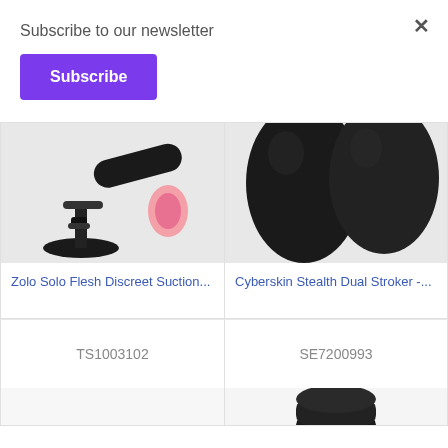Subscribe to our newsletter
Subscribe
[Figure (photo): Zolo Solo product with suction cup mount and pink masturbator opening, partially cropped]
Zolo Solo Flesh Discreet Suction...
TS1003102
[Figure (photo): Cyberskin Stealth Dual Stroker black product, partially cropped at top]
Cyberskin Stealth Dual Stroker -...
SE7200993
[Figure (photo): Partially visible black product at bottom right of grid]